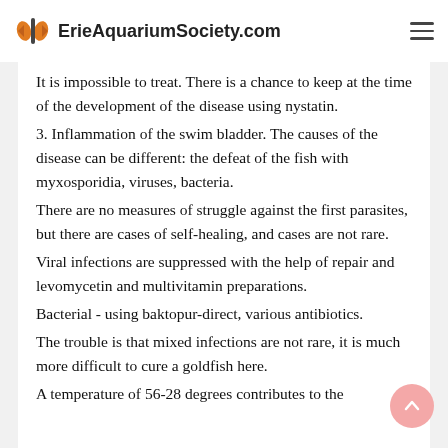ErieAquariumSociety.com
It is impossible to treat. There is a chance to keep at the time of the development of the disease using nystatin.
3. Inflammation of the swim bladder. The causes of the disease can be different: the defeat of the fish with myxosporidia, viruses, bacteria.
There are no measures of struggle against the first parasites, but there are cases of self-healing, and cases are not rare.
Viral infections are suppressed with the help of repair and levomycetin and multivitamin preparations.
Bacterial - using baktopur-direct, various antibiotics.
The trouble is that mixed infections are not rare, it is much more difficult to cure a goldfish here.
A temperature of 56-28 degrees contributes to the